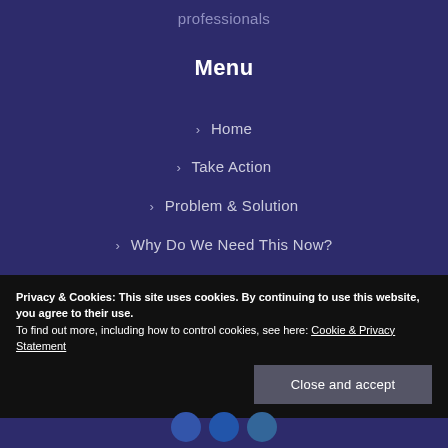professionals
Menu
> Home
> Take Action
> Problem & Solution
> Why Do We Need This Now?
> Media
> Who We Are
Privacy & Cookies: This site uses cookies. By continuing to use this website, you agree to their use. To find out more, including how to control cookies, see here: Cookie & Privacy Statement
Close and accept